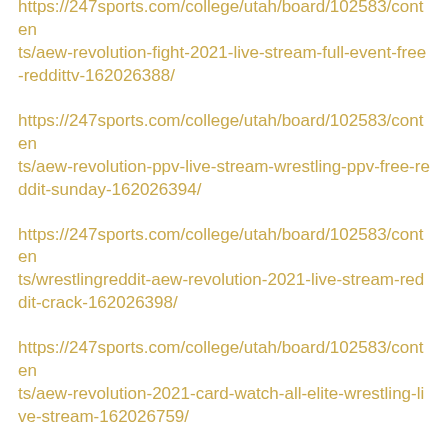https://247sports.com/college/utah/board/102583/contents/aew-revolution-fight-2021-live-stream-full-event-free-reddittv-162026388/
https://247sports.com/college/utah/board/102583/contents/aew-revolution-ppv-live-stream-wrestling-ppv-free-reddit-sunday-162026394/
https://247sports.com/college/utah/board/102583/contents/wrestlingreddit-aew-revolution-2021-live-stream-reddit-crack-162026398/
https://247sports.com/college/utah/board/102583/contents/aew-revolution-2021-card-watch-all-elite-wrestling-live-stream-162026759/
https://247sports.com/college/utah/board/102583/contents/aew-revolution-card-aew-revolution-2021-shows-live-